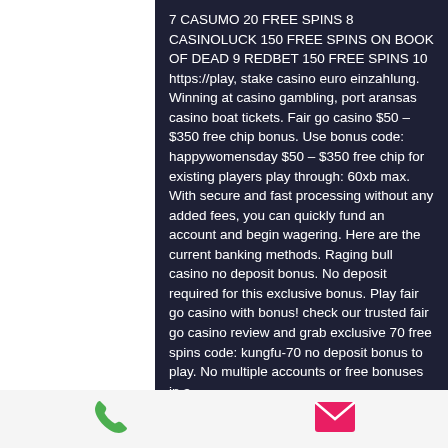7 CASUMO 20 FREE SPINS 8 CASINOLUCK 150 FREE SPINS ON BOOK OF DEAD 9 REDBET 150 FREE SPINS 10 https://play, stake casino euro einzahlung. Winning at casino gambling, port aransas casino boat tickets. Fair go casino $50 – $350 free chip bonus. Use bonus code: happywomensday $50 – $350 free chip for existing players play through: 60xb max. With secure and fast processing without any added fees, you can quickly fund an account and begin wagering. Here are the current banking methods. Raging bull casino no deposit bonus. No deposit required for this exclusive bonus. Play fair go casino with bonus! check our trusted fair go casino review and grab exclusive 70 free spins code: kungfu-70 no deposit bonus to play. No multiple accounts or free bonuses in a
[Figure (other): Footer bar with green phone icon and pink/magenta email envelope icon]